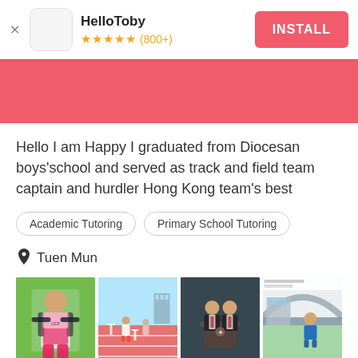[Figure (screenshot): App install banner showing HelloToby app with star rating and INSTALL button]
[Figure (photo): Pink/coral colored banner strip]
Hello I am Happy I graduated from Diocesan boys&#39;school and served as track and field team captain and hurdler Hong Kong team&#39;s best
Academic Tutoring
Primary School Tutoring
Tuen Mun
[Figure (photo): Four photos of a person in athletic/sports and formal settings, track and field images]